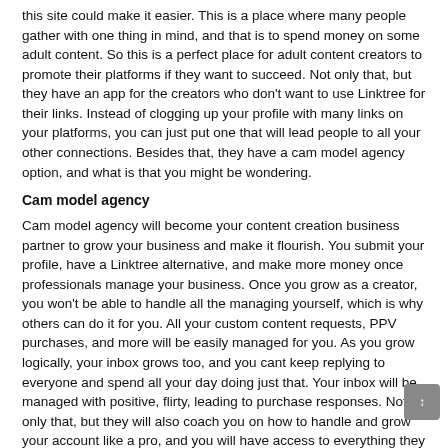this site could make it easier. This is a place where many people gather with one thing in mind, and that is to spend money on some adult content. So this is a perfect place for adult content creators to promote their platforms if they want to succeed. Not only that, but they have an app for the creators who don't want to use Linktree for their links. Instead of clogging up your profile with many links on your platforms, you can just put one that will lead people to all your other connections. Besides that, they have a cam model agency option, and what is that you might be wondering.
Cam model agency
Cam model agency will become your content creation business partner to grow your business and make it flourish. You submit your profile, have a Linktree alternative, and make more money once professionals manage your business. Once you grow as a creator, you won't be able to handle all the managing yourself, which is why others can do it for you. All your custom content requests, PPV purchases, and more will be easily managed for you. As you grow logically, your inbox grows too, and you cant keep replying to everyone and spend all your day doing just that. Your inbox will be managed with positive, flirty, leading to purchase responses. Not only that, but they will also coach you on how to handle and grow your account like a pro, and you will have access to everything they do.
How to apply for a cam model agency
You put up your cam name on the front page at the bottom together with the link to your page, your Twitter, and your email address. They